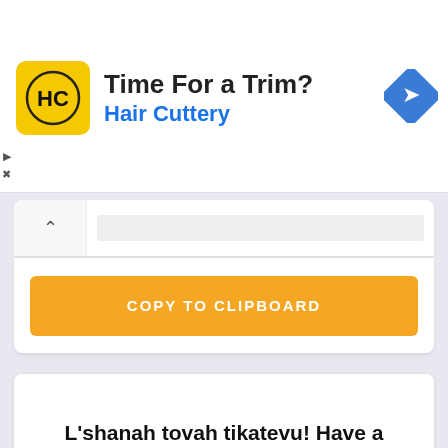[Figure (screenshot): Hair Cuttery advertisement banner with yellow logo icon, text 'Time For a Trim?' and 'Hair Cuttery' in blue, and a blue diamond navigation icon on the right]
COPY TO CLIPBOARD
L'shanah tovah tikatevu! Have a happy, healthy, and sweet new year!
New Year Wishes
Short New Year Wishes